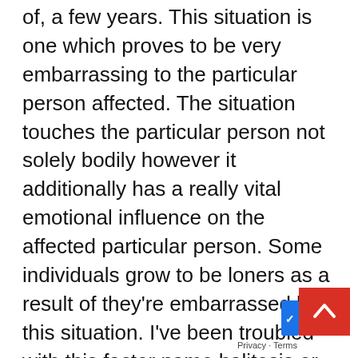of, a few years. This situation is one which proves to be very embarrassing to the particular person affected. The situation touches the particular person not solely bodily however it additionally has a really vital emotional influence on the affected particular person. Some individuals grow to be loners as a result of they're embarrassed by this situation. I've been troubled with this factor name halitosis or malodor, or dangerous breath, no matter, for thus lengthy; I can not keep in mind how lengthy. However it actually has been an affliction, a burden to my life. I spent greater than I earned looking for liberation from this. I wanted to be free of this curse. Then, at some point, browsing the web I stumbled on this text. It spoke a couple of easy, cheap answer. I took an opportunity and tried it. It labored so shortly. Like with many individuals with diseases, individuals with dangerous breath, will ask the query 'why me'? I do not know if dangerous breath is a genetic dysfunction, if it is in my genes; was there something I may have completed to stop it? I'm